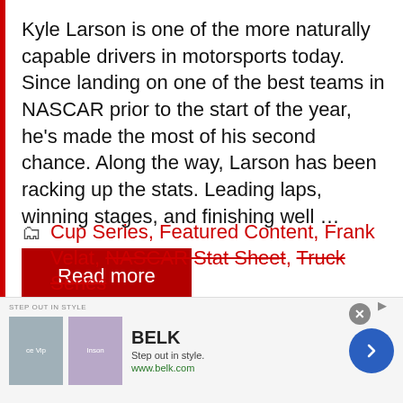Kyle Larson is one of the more naturally capable drivers in motorsports today. Since landing on one of the best teams in NASCAR prior to the start of the year, he's made the most of his second chance. Along the way, Larson has been racking up the stats. Leading laps, winning stages, and finishing well …
Read more
Cup Series, Featured Content, Frank Velat, NASCAR Stat Sheet, Truck Series
[Figure (other): Advertisement banner for Belk department store. Shows two clothing images, BELK brand name, tagline 'Step out in style.', URL www.belk.com, close button, and navigation arrow.]